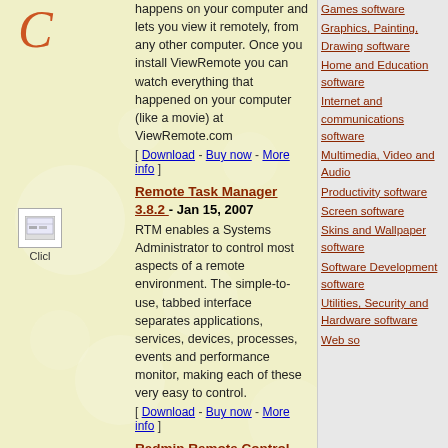happens on your computer and lets you view it remotely, from any other computer. Once you install ViewRemote you can watch everything that happened on your computer (like a movie) at ViewRemote.com
[ Download - Buy now - More info ]
Remote Task Manager 3.8.2 - Jan 15, 2007
RTM enables a Systems Administrator to control most aspects of a remote environment. The simple-to-use, tabbed interface separates applications, services, devices, processes, events and performance monitor, making each of these very easy to control.
[ Download - Buy now - More info ]
Radmin Remote Control 3.5.1 - May 19, 2014
Radmin is fast remote control software for secure access to remote computer via Internet or LAN in multiple modes: view remote desktop, control remote PC's keyboard and mouse, file transfer, telnet, remote turn on/off, text and voice chat.
See also: remote desktop, remote support, network management, network administration, help desk, remote computer, remote administration, remote access, remote control, ...
[ Download - Buy now - More info ]
Online Desktop Presenter 1.9.11.7 - Sep 21, 2014
Games software
Graphics, Painting, Drawing software
Home and Education software
Internet and communications software
Multimedia, Video and Audio
Productivity software
Screen software
Skins and Wallpaper software
Software Development software
Utilities, Security and Hardware software
Web software